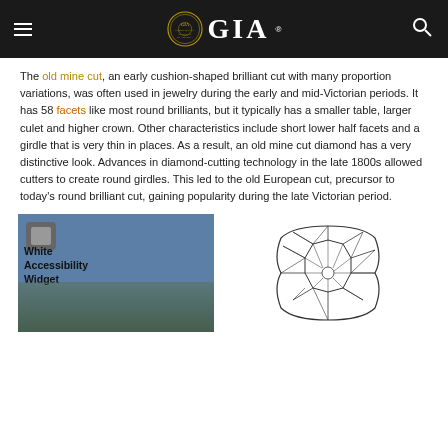GIA
The old mine cut, an early cushion-shaped brilliant cut with many proportion variations, was often used in jewelry during the early and mid-Victorian periods. It has 58 facets like most round brilliants, but it typically has a smaller table, larger culet and higher crown. Other characteristics include short lower half facets and a girdle that is very thin in places. As a result, an old mine cut diamond has a very distinctive look. Advances in diamond-cutting technology in the late 1800s allowed cutters to create round girdles. This led to the old European cut, precursor to today's round brilliant cut, gaining popularity during the late Victorian period.
[Figure (photo): Photo of an old mine cut diamond against a blue background with accessibility widget overlay text]
[Figure (illustration): Line drawing diagram of an old mine cut diamond viewed from above, showing facet pattern]